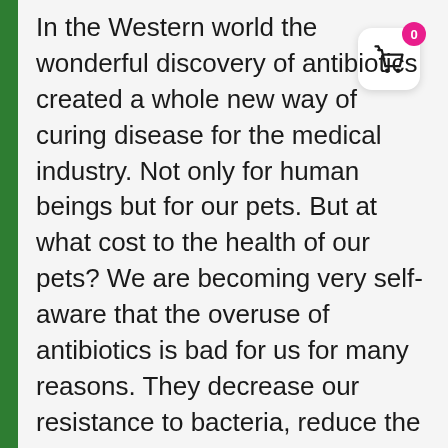[Figure (other): Shopping cart icon button with pink badge showing 0, white rounded square background, positioned top right]
In the Western world the wonderful discovery of antibiotics created a whole new way of curing disease for the medical industry. Not only for human beings but for our pets. But at what cost to the health of our pets? We are becoming very self-aware that the overuse of antibiotics is bad for us for many reasons. They decrease our resistance to bacteria, reduce the strength our immune system and over time they have created stronger and more resistant super bugs to name